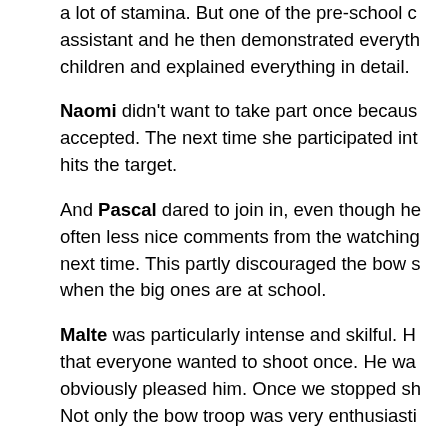a lot of stamina. But one of the pre-school c… assistant and he then demonstrated everyth… children and explained everything in detail.
Naomi didn't want to take part once becaus… accepted. The next time she participated int… hits the target.
And Pascal dared to join in, even though he… often less nice comments from the watching… next time. This partly discouraged the bow s… when the big ones are at school.
Malte was particularly intense and skilful. H… that everyone wanted to shoot once. He wa… obviously pleased him. Once we stopped sh… Not only the bow troop was very enthusiasti…